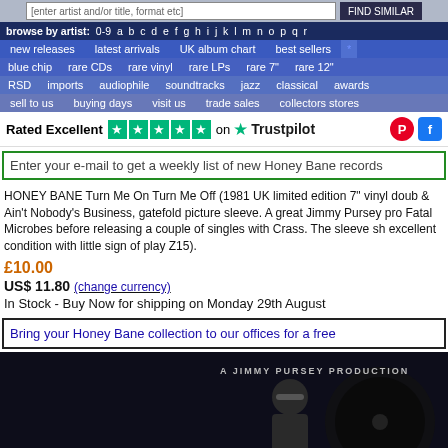browse by artist: 0-9 a b c d e f g h i j k l m n o p q r
new releases | latest arrivals | UK album chart | best sellers
blue chip | rare CDs | rare vinyl | rare LPs | rare 7" | rare 12"
RSD | imports | audiophile | soundtracks | jazz | classical | awards
sell to us | buying days | visit us | trade sales | collectors stores
Rated Excellent on Trustpilot
Enter your e-mail to get a weekly list of new Honey Bane records
HONEY BANE Turn Me On Turn Me Off (1981 UK limited edition 7" vinyl doub & Ain't Nobody's Business, gatefold picture sleeve. A great Jimmy Pursey pro Fatal Microbes before releasing a couple of singles with Crass. The sleeve sh excellent condition with little sign of play Z15).
£10.00
US$ 11.80 (change currency)
In Stock - Buy Now for shipping on Monday 29th August
Bring your Honey Bane collection to our offices for a free
[Figure (photo): Album cover showing dark background with text 'A JIMMY PURSEY PRODUCTION' and a figure in the image]